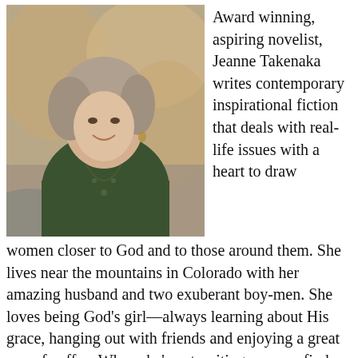[Figure (photo): Photo of Jeanne Takenaka, a smiling woman with gray-streaked hair wearing a dark green top and long necklace, seated outdoors with rock background]
Award winning, aspiring novelist, Jeanne Takenaka writes contemporary inspirational fiction that deals with real-life issues with a heart to draw women closer to God and to those around them. She lives near the mountains in Colorado with her amazing husband and two exuberant boy-men. She loves being God's girl—always learning about His grace, hanging out with friends and enjoying a great cup of coffee. When she's not writing you can find her with a camera in her hand, looking for #alittlebitofpretty in her days. She is a member of